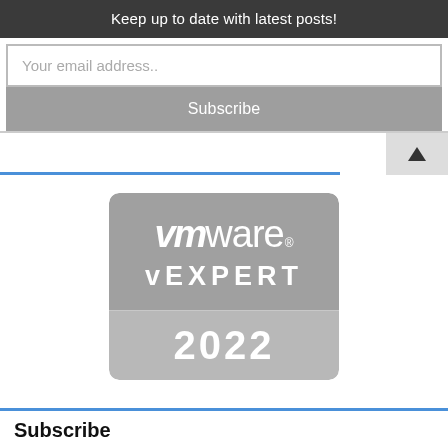Keep up to date with latest posts!
Your email address..
Subscribe
[Figure (logo): VMware vEXPERT 2022 badge — rounded rectangle badge with dark gray top section showing the VMware logo and 'vEXPERT' text in white, and a lighter gray bottom section showing '2022' in large white numerals.]
Subscribe